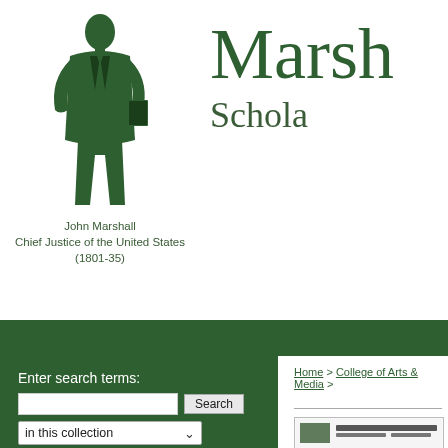[Figure (illustration): Ink illustration of John Marshall standing, holding books]
John Marshall
Chief Justice of the United States (1801-35)
Marsh
Schola
Enter search terms:
in this collection
Advanced Search
Notify me via email or RSS
Browse
Collections
Disciplines
Home > College of Arts & Media >
[Figure (screenshot): Thumbnail of a document page titled Senior Recital]